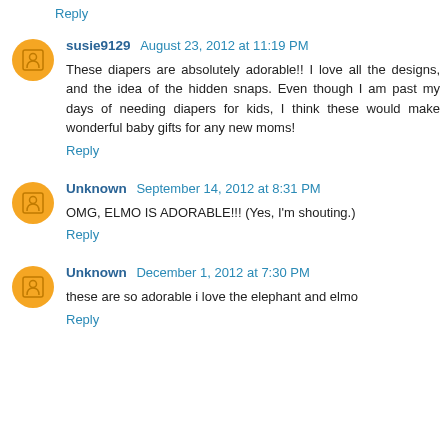Reply
susie9129  August 23, 2012 at 11:19 PM
These diapers are absolutely adorable!! I love all the designs, and the idea of the hidden snaps. Even though I am past my days of needing diapers for kids, I think these would make wonderful baby gifts for any new moms!
Reply
Unknown  September 14, 2012 at 8:31 PM
OMG, ELMO IS ADORABLE!!! (Yes, I'm shouting.)
Reply
Unknown  December 1, 2012 at 7:30 PM
these are so adorable i love the elephant and elmo
Reply